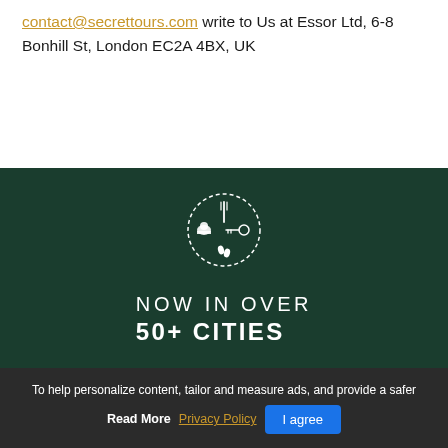contact@secrettours.com write to Us at Essor Ltd, 6-8 Bonhill St, London EC2A 4BX, UK
[Figure (logo): Secret Tours circular logo with fork, chef hat, scissors/key, and footprints icons arranged in a cross pattern inside a dashed circle]
NOW IN OVER 50+ CITIES
To help personalize content, tailor and measure ads, and provide a safer
Read More Privacy Policy I agree